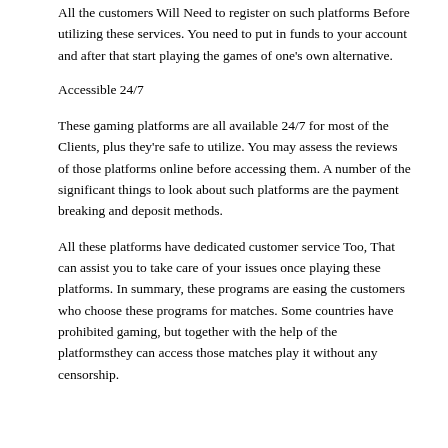All the customers Will Need to register on such platforms Before utilizing these services. You need to put in funds to your account and after that start playing the games of one's own alternative.
Accessible 24/7
These gaming platforms are all available 24/7 for most of the Clients, plus they're safe to utilize. You may assess the reviews of those platforms online before accessing them. A number of the significant things to look about such platforms are the payment breaking and deposit methods.
All these platforms have dedicated customer service Too, That can assist you to take care of your issues once playing these platforms. In summary, these programs are easing the customers who choose these programs for matches. Some countries have prohibited gaming, but together with the help of the platformsthey can access those matches play it without any censorship.